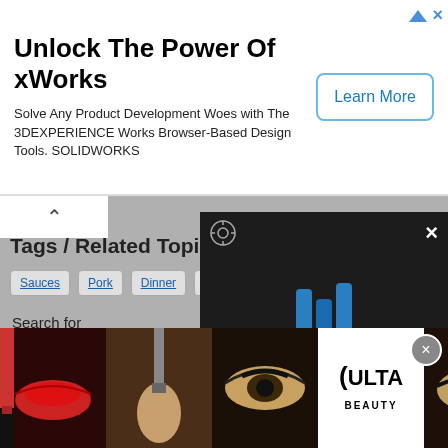[Figure (screenshot): Advertisement banner: 'Unlock The Power Of xWorks' with SOLIDWORKS/3DEXPERIENCE description and 'Learn More' button]
Tags / Related Topics
Sauces
Pork
Dinner
Main Dishes
Easy Pork Chop Recipes
Search for
Easy Oven-Baked P...
Best Fat Loss Reci...
Best Dinner Recipe...
[Figure (screenshot): Video player overlay showing Mr. Food Test Kitchen logo with play button, close (X) button, settings icon, and mute icon]
[Figure (screenshot): Bottom advertisement banner for Ulta Beauty with makeup/cosmetics images and a 'SHOP NOW' call to action]